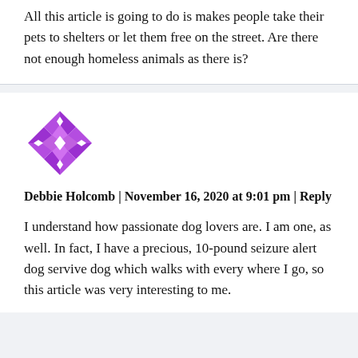All this article is going to do is makes people take their pets to shelters or let them free on the street. Are there not enough homeless animals as there is?
[Figure (illustration): Purple geometric/snowflake avatar icon for user Debbie Holcomb]
Debbie Holcomb | November 16, 2020 at 9:01 pm | Reply
I understand how passionate dog lovers are. I am one, as well. In fact, I have a precious, 10-pound seizure alert dog servive dog which walks with every where I go, so this article was very interesting to me.